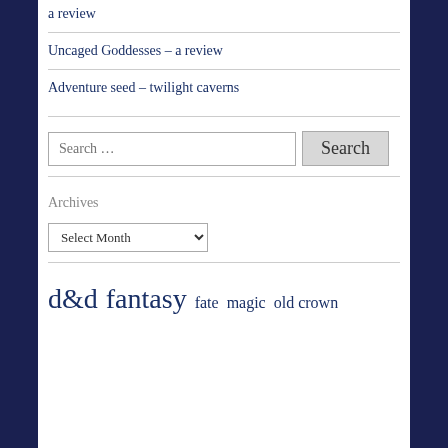a review
Uncaged Goddesses – a review
Adventure seed – twilight caverns
Search …
Archives
Select Month
d&d  fantasy  fate  magic  old crown